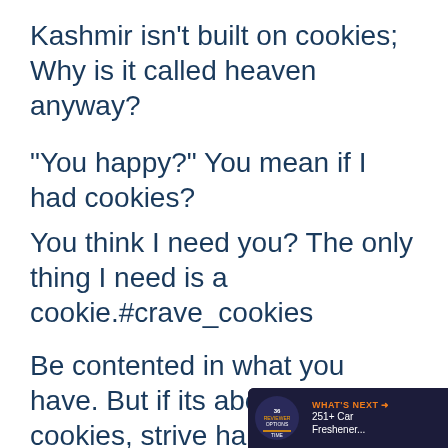Kashmir isn't built on cookies; Why is it called heaven anyway?
“You happy?” You mean if I had cookies?
You think I need you? The only thing I need is a cookie.#crave_cookies
Be contented in what you have. But if its about the cookies, strive harder! #need_more
Soft, sugary, sweet- 3 gems of a cookie!
Cookies don’t get you carbs, the smile